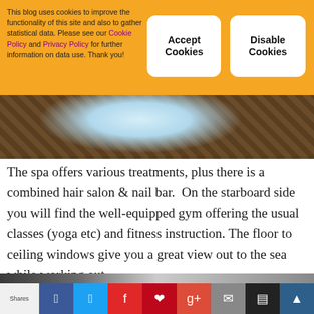This blog uses cookies to improve the functionality of this site and also to gather statistical data. Please see our Cookie Policy and Privacy Policy for further information on data use. Thank you!
Accept Cookies
Disable Cookies
[Figure (photo): Close-up of a ship spa area showing a circular hot tub and dark wood decking]
The spa offers various treatments, plus there is a combined hair salon & nail bar.  On the starboard side you will find the well-equipped gym offering the usual classes (yoga etc) and fitness instruction. The floor to ceiling windows give you a great view out to the sea while working out.
[Figure (photo): Interior photo of a gym on a cruise ship with floor-to-ceiling windows and modern equipment]
Shares